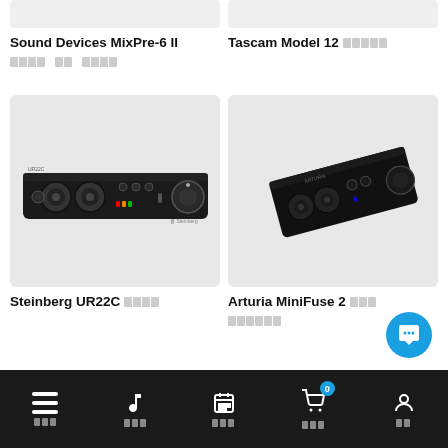[Figure (photo): Sound Devices MixPre-6 II product image placeholder (top, partially visible)]
[Figure (photo): Tascam Model 12 product image placeholder (top, partially visible)]
Sound Devices MixPre-6 II
블록 텍스트 (Korean characters)
Tascam Model 12 (+ Korean characters)
[Figure (photo): Steinberg UR22C USB audio interface, black unit with two XLR inputs and knobs, on grey background]
[Figure (photo): Arturia MiniFuse 2 USB audio interface, black compact unit on grey background]
Steinberg UR22C (+ Korean characters)
Arturia MiniFuse 2 (+ Korean characters)
Korean subtitle text for Arturia MiniFuse 2
Bottom navigation bar with icons: menu, music, calendar, cart (badge 0), user